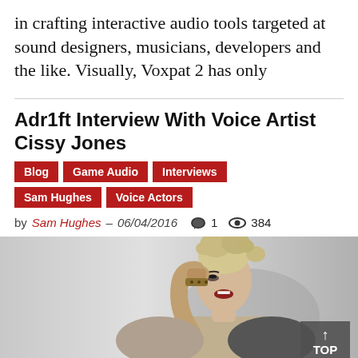in crafting interactive audio tools targeted at sound designers, musicians, developers and the like. Visually, Voxpat 2 has only
Adr1ft Interview With Voice Artist Cissy Jones
Blog
Game Audio
Interviews
Sam Hughes
Voice Actors
by Sam Hughes – 06/04/2016  💬 1  👁 384
[Figure (photo): Photo of a blonde woman with an updo hairstyle, mouth open as if singing or shouting, raising a fist. She wears a bracelet/cuff. Background is light grey. Bottom right corner has a 'TOP' button overlay.]